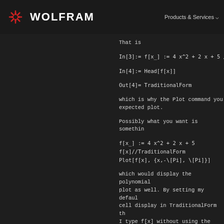WOLFRAM | Products & Services
That is
In[3]:= f[x_] := 4 x^2 + 2 x + 5 /
In[4]:= Head[f[x]]
Out[4]= TraditionalForm
which is why the Plot command you expected plot.
Possibly what you want is somethin
f[x_] := 4 x^2 + 2 x + 5
f[x]//TraditionalForm
Plot[f[x], {x,-\[Pi], \[Pi]}]
which would display the polynomial plot as well. By setting my default cell display in TraditionalForm th I type f[x] without using the //Tr